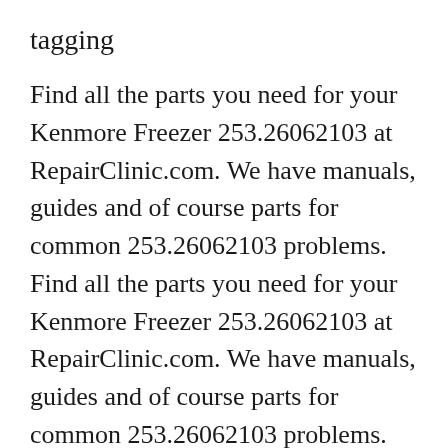tagging
Find all the parts you need for your Kenmore Freezer 253.26062103 at RepairClinic.com. We have manuals, guides and of course parts for common 253.26062103 problems. Find all the parts you need for your Kenmore Freezer 253.26062103 at RepairClinic.com. We have manuals, guides and of course parts for common 253.26062103 problems.
Find the exact replacement part you need to fix your Kenmore 25322042410 upright freezer here! Not only that but we have installation guides, diagrams and manuals to help you along the way! Find all the parts you need for your Kenmore Freezer...